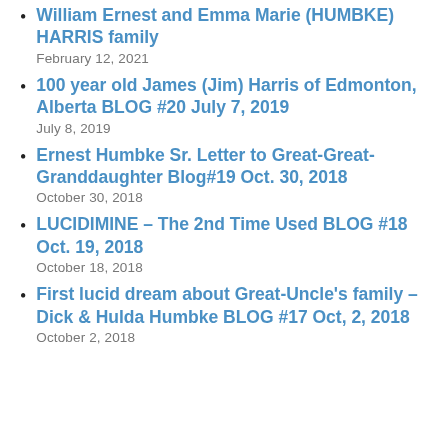William Ernest and Emma Marie (HUMBKE) HARRIS family
100 year old James (Jim) Harris of Edmonton, Alberta BLOG #20 July 7, 2019
Ernest Humbke Sr. Letter to Great-Great-Granddaughter Blog#19 Oct. 30, 2018
LUCIDIMINE – The 2nd Time Used BLOG #18 Oct. 19, 2018
First lucid dream about Great-Uncle's family – Dick & Hulda Humbke BLOG #17 Oct, 2, 2018